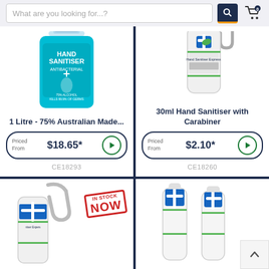What are you looking for...?
[Figure (photo): 1 Litre hand sanitiser bottle with teal label reading HAND SANITISER ANTIBACTERIAL 75% Alcohol]
1 Litre - 75% Australian Made...
Priced From $18.65*
CE18293
[Figure (photo): 30ml hand sanitiser bottle with carabiner clip, white bottle with blue/green cross logo reading Hand Sanitiser Express]
30ml Hand Sanitiser with Carabiner
Priced From $2.10*
CE18260
[Figure (photo): 30ml hand sanitiser with carabiner clip, IN STOCK NOW stamp overlay]
[Figure (photo): Two small clear hand sanitiser bottles]